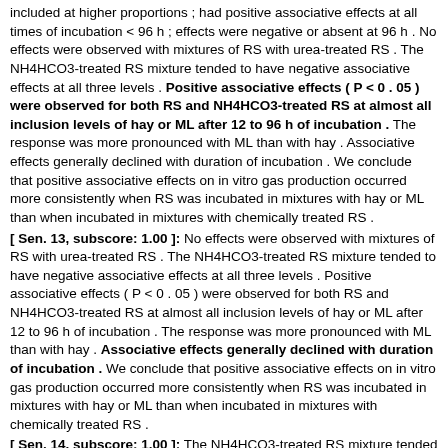included at higher proportions ; had positive associative effects at all times of incubation < 96 h ; effects were negative or absent at 96 h . No effects were observed with mixtures of RS with urea-treated RS . The NH4HCO3-treated RS mixture tended to have negative associative effects at all three levels . Positive associative effects ( P < 0 . 05 ) were observed for both RS and NH4HCO3-treated RS at almost all inclusion levels of hay or ML after 12 to 96 h of incubation . The response was more pronounced with ML than with hay . Associative effects generally declined with duration of incubation . We conclude that positive associative effects on in vitro gas production occurred more consistently when RS was incubated in mixtures with hay or ML than when incubated in mixtures with chemically treated RS .
[ Sen. 13, subscore: 1.00 ]: No effects were observed with mixtures of RS with urea-treated RS . The NH4HCO3-treated RS mixture tended to have negative associative effects at all three levels . Positive associative effects ( P < 0 . 05 ) were observed for both RS and NH4HCO3-treated RS at almost all inclusion levels of hay or ML after 12 to 96 h of incubation . The response was more pronounced with ML than with hay . Associative effects generally declined with duration of incubation . We conclude that positive associative effects on in vitro gas production occurred more consistently when RS was incubated in mixtures with hay or ML than when incubated in mixtures with chemically treated RS .
[ Sen. 14, subscore: 1.00 ]: The NH4HCO3-treated RS mixture tended to have negative associative effects at all three levels . Positive associative effects ( P < 0 . 05 ) were observed for both RS and NH4HCO3-treated RS at almost all inclusion levels of hay or ML after 12 to 96 h of incubation . The response was more pronounced with ML than with hay . Associative effects generally declined with duration of incubation . We conclude that positive associative effects on in vitro gas production occurred more consistently when RS was incubated in mixtures with hay or ML than when incubated in mixtures with chemically treated RS .